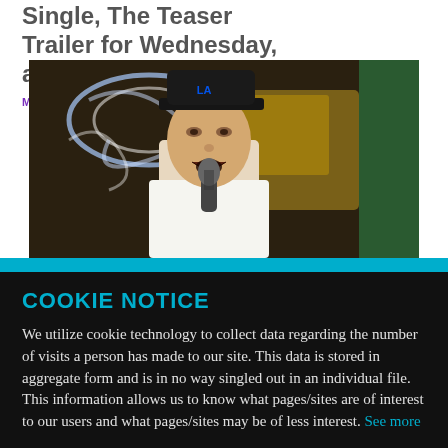Single, The Teaser Trailer for Wednesday, and a blink-182 Reunion
MADDI MYERS
[Figure (photo): Young male performer singing into microphone, wearing a black LA Dodgers cap, with neon sign background and green pole visible]
COOKIE NOTICE
We utilize cookie technology to collect data regarding the number of visits a person has made to our site. This data is stored in aggregate form and is in no way singled out in an individual file. This information allows us to know what pages/sites are of interest to our users and what pages/sites may be of less interest. See more